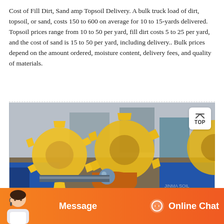Cost of Fill Dirt, Sand amp Topsoil Delivery. A bulk truck load of dirt, topsoil, or sand, costs 150 to 600 on average for 10 to 15-yards delivered. Topsoil prices range from 10 to 50 per yard, fill dirt costs 5 to 25 per yard, and the cost of sand is 15 to 50 per yard, including delivery.. Bulk prices depend on the amount ordered, moisture content, delivery fees, and quality of materials.
[Figure (photo): Industrial machinery photo showing large yellow toothed gear wheels / rotary equipment with blue machinery components in an outdoor industrial setting]